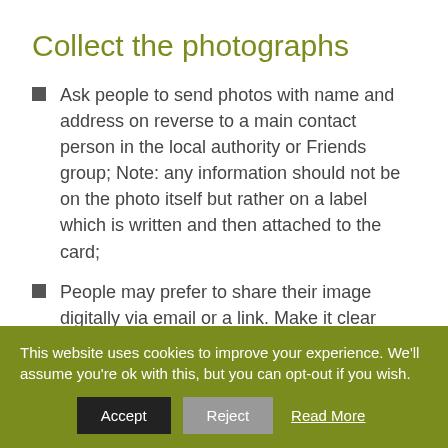Collect the photographs
Ask people to send photos with name and address on reverse to a main contact person in the local authority or Friends group; Note: any information should not be on the photo itself but rather on a label which is written and then attached to the card;
People may prefer to share their image digitally via email or a link. Make it clear
This website uses cookies to improve your experience. We'll assume you're ok with this, but you can opt-out if you wish.
Accept | Reject | Read More